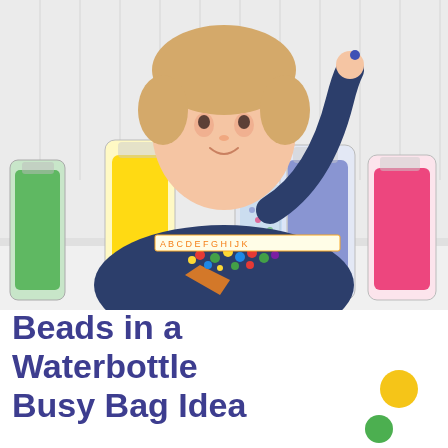[Figure (photo): A young toddler boy with blonde hair wearing a dark navy long-sleeve shirt with an orange graphic, sitting at a white table. He is placing a small blue bead into the opening of a clear plastic water bottle. On the table in front of him are four colorful water bottles filled with colored water beads: green, yellow, blue, and red/pink. Scattered on the table are multicolored beads. The background is a white beadboard wall.]
Beads in a Waterbottle Busy Bag Idea